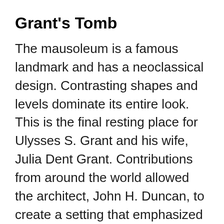Grant's Tomb
The mausoleum is a famous landmark and has a neoclassical design. Contrasting shapes and levels dominate its entire look. This is the final resting place for Ulysses S. Grant and his wife, Julia Dent Grant. Contributions from around the world allowed the architect, John H. Duncan, to create a setting that emphasized marble as well as granite.
These materials have allowed a design that pays suitable tribute in itself to the memorial's importance. Due to its